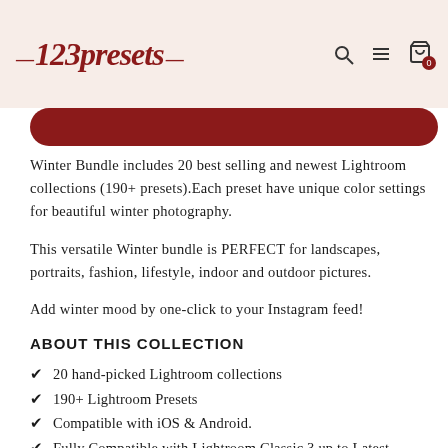123presets
Winter Bundle includes 20 best selling and newest Lightroom collections (190+ presets).Each preset have unique color settings for beautiful winter photography.
This versatile Winter bundle is PERFECT for landscapes, portraits, fashion, lifestyle, indoor and outdoor pictures.
Add winter mood by one-click to your Instagram feed!
ABOUT THIS COLLECTION
✔ 20 hand-picked Lightroom collections
✔ 190+ Lightroom Presets
✔ Compatible with iOS & Android.
✔ Fully Compatible with Lightroom Classic 3 up to Latest